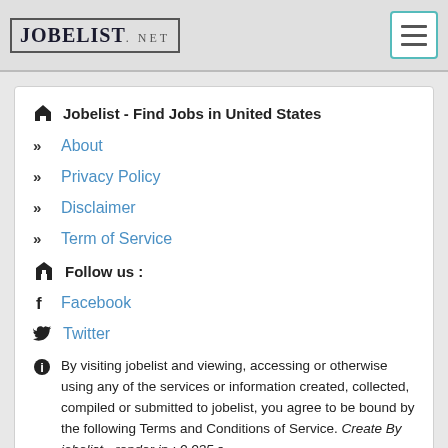JOBELIST.NET
Jobelist - Find Jobs in United States
About
Privacy Policy
Disclaimer
Term of Service
Follow us :
Facebook
Twitter
By visiting jobelist and viewing, accessing or otherwise using any of the services or information created, collected, compiled or submitted to jobelist, you agree to be bound by the following Terms and Conditions of Service. Create By jobelist - render in : 0.035 s.
© Jobelist - Find Jobs in United States